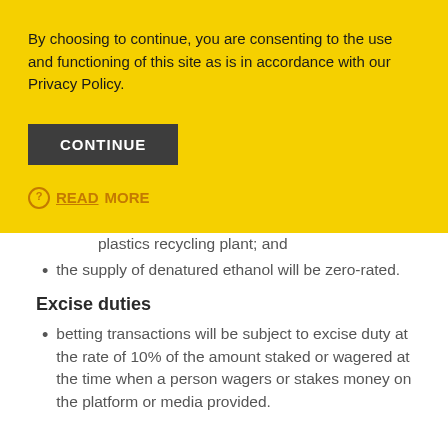By choosing to continue, you are consenting to the use and functioning of this site as is in accordance with our Privacy Policy.
CONTINUE
READ MORE
plastics recycling plant; and
the supply of denatured ethanol will be zero-rated.
Excise duties
betting transactions will be subject to excise duty at the rate of 10% of the amount staked or wagered at the time when a person wagers or stakes money on the platform or media provided.